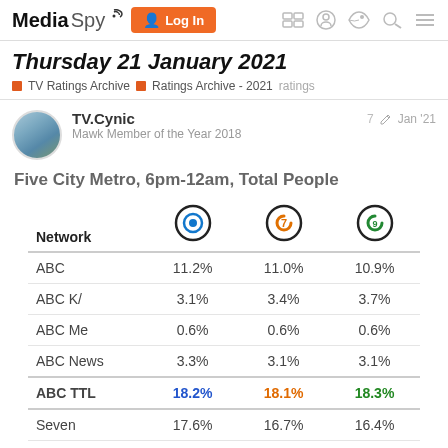MediaSpy | Log In
Thursday 21 January 2021
TV Ratings Archive | Ratings Archive - 2021 | ratings
TV.Cynic
Mawk Member of the Year 2018
7  Jan '21
Five City Metro, 6pm-12am, Total People
| Network | [ABC circle] | [7 circle] | [9 circle] |
| --- | --- | --- | --- |
| ABC | 11.2% | 11.0% | 10.9% |
| ABC K/ | 3.1% | 3.4% | 3.7% |
| ABC Me | 0.6% | 0.6% | 0.6% |
| ABC News | 3.3% | 3.1% | 3.1% |
| ABC TTL | 18.2% | 18.1% | 18.3% |
| Seven | 17.6% | 16.7% | 16.4% |